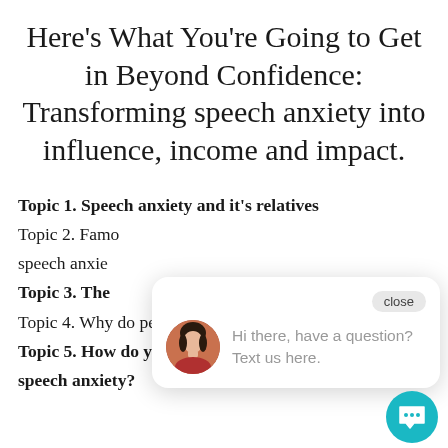Here's What You're Going to Get in Beyond Confidence: Transforming speech anxiety into influence, income and impact.
Topic 1. Speech anxiety and it's relatives
Topic 2. Fame... speech anxie...
Topic 3. The...
Topic 4. Why do people experience speech anxiety?
Topic 5. How do you know you experience speech anxiety?
[Figure (screenshot): Chat widget overlay showing close button and message 'Hi there, have a question? Text us here.' with avatar photo of a woman and a teal chat bubble icon]